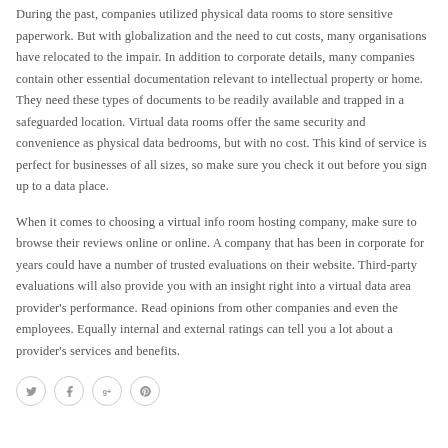During the past, companies utilized physical data rooms to store sensitive paperwork. But with globalization and the need to cut costs, many organisations have relocated to the impair. In addition to corporate details, many companies contain other essential documentation relevant to intellectual property or home. They need these types of documents to be readily available and trapped in a safeguarded location. Virtual data rooms offer the same security and convenience as physical data bedrooms, but with no cost. This kind of service is perfect for businesses of all sizes, so make sure you check it out before you sign up to a data place.
When it comes to choosing a virtual info room hosting company, make sure to browse their reviews online or online. A company that has been in corporate for years could have a number of trusted evaluations on their website. Third-party evaluations will also provide you with an insight right into a virtual data area provider's performance. Read opinions from other companies and even the employees. Equally internal and external ratings can tell you a lot about a provider's services and benefits.
[Figure (other): Row of four social media icon circles: Twitter bird, Facebook f, Google+ g+, Pinterest p]